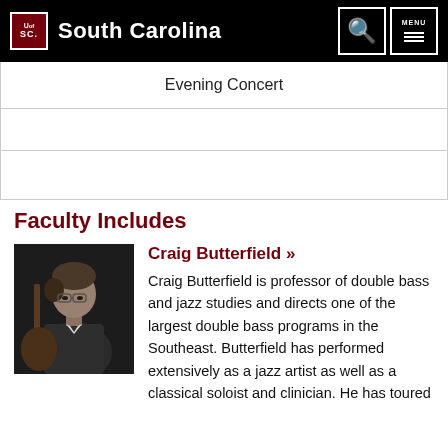University of South Carolina
| Evening Concert |
|  |
|  |
Faculty Includes
[Figure (photo): Black and white photo of Craig Butterfield playing double bass, wearing glasses]
Craig Butterfield »
Craig Butterfield is professor of double bass and jazz studies and directs one of the largest double bass programs in the Southeast. Butterfield has performed extensively as a jazz artist as well as a classical soloist and clinician. He has toured